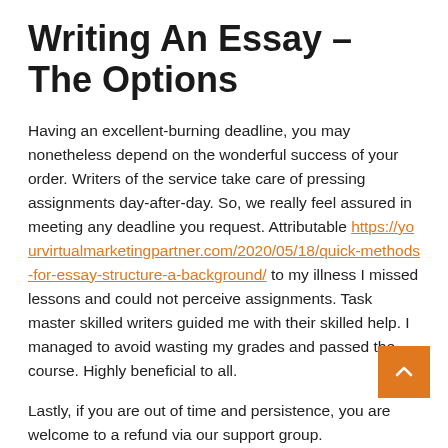Writing An Essay – The Options
Having an excellent-burning deadline, you may nonetheless depend on the wonderful success of your order. Writers of the service take care of pressing assignments day-after-day. So, we really feel assured in meeting any deadline you request. Attributable https://yourvirtualmarketingpartner.com/2020/05/18/quick-methods-for-essay-structure-a-background/ to my illness I missed lessons and could not perceive assignments. Task master skilled writers guided me with their skilled help. I managed to avoid wasting my grades and passed the course. Highly beneficial to all.
Lastly, if you are out of time and persistence, you are welcome to a refund via our support group.